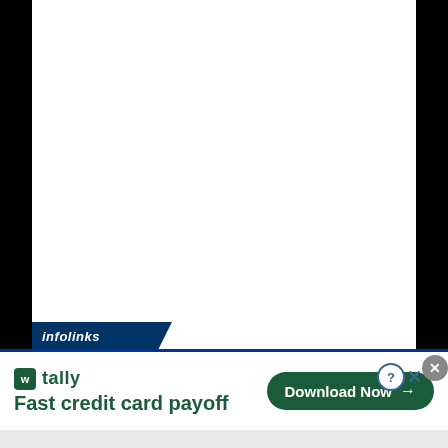[Figure (other): Screenshot of a webpage with black side bars and a white content area (mostly blank/white), with an infolinks advertisement banner at the bottom]
infolinks
[Figure (other): Tally app advertisement banner: Tally logo (green square with W) and 'tally' text, tagline 'Fast credit card payoff', and a green 'Download Now' button with arrow. Also shows close (X) and help (?) buttons.]
tally
Fast credit card payoff
Download Now